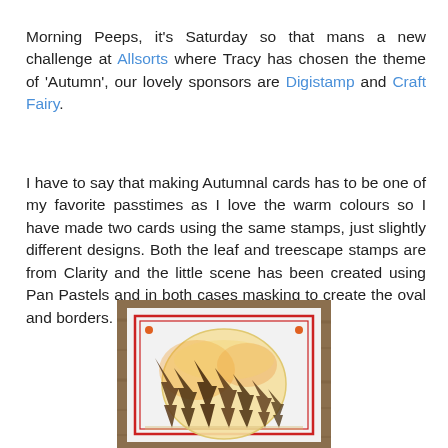Morning Peeps, it's Saturday so that mans a new challenge at Allsorts where Tracy has chosen the theme of 'Autumn', our lovely sponsors are Digistamp and Craft Fairy.
I have to say that making Autumnal cards has to be one of my favorite passtimes as I love the warm colours so I have made two cards using the same stamps, just slightly different designs. Both the leaf and treescape stamps are from Clarity and the little scene has been created using Pan Pastels and in both cases masking to create the oval and borders.
[Figure (photo): A handmade autumn card showing a white card with a red border, two small orange dots in top corners, and a circular oval scene stamped in brown showing a treescape of pine trees with an autumnal orange/yellow background created with Pan Pastels, all on a wooden surface background.]